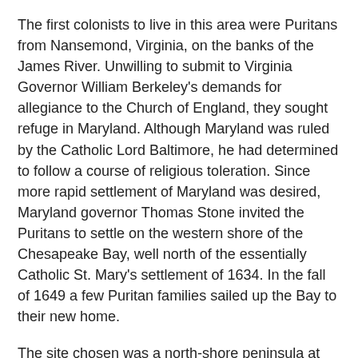The first colonists to live in this area were Puritans from Nansemond, Virginia, on the banks of the James River. Unwilling to submit to Virginia Governor William Berkeley's demands for allegiance to the Church of England, they sought refuge in Maryland. Although Maryland was ruled by the Catholic Lord Baltimore, he had determined to follow a course of religious toleration. Since more rapid settlement of Maryland was desired, Maryland governor Thomas Stone invited the Puritans to settle on the western shore of the Chesapeake Bay, well north of the essentially Catholic St. Mary's settlement of 1634. In the fall of 1649 a few Puritan families sailed up the Bay to their new home.
The site chosen was a north-shore peninsula at the mouth of the Severn River. The settlers called the area Towne Neck. The ground was level and fertile and the settlers built a fort at the end of the point. This was necessary because the new settlement, called Providence, was within the area then controlled by the warlike Susquehannocks.
The names of the area and the river changed several times